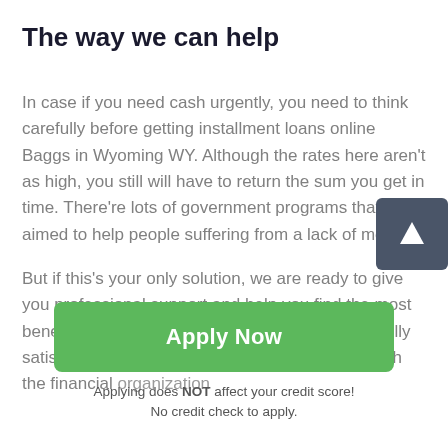The way we can help
In case if you need cash urgently, you need to think carefully before getting installment loans online Baggs in Wyoming WY. Although the rates here aren't as high, you still will have to return the sum you get in time. There're lots of government programs that are aimed to help people suffering from a lack of money.
But if this's your only solution, we are ready to give you professional support and help you find the most beneficial lender. That's how you will be able to fully satisfy your needs and avoid having problems with the financial organization
[Figure (other): Scroll-to-top button with upward arrow icon on dark gray background]
Apply Now
Applying does NOT affect your credit score!
No credit check to apply.